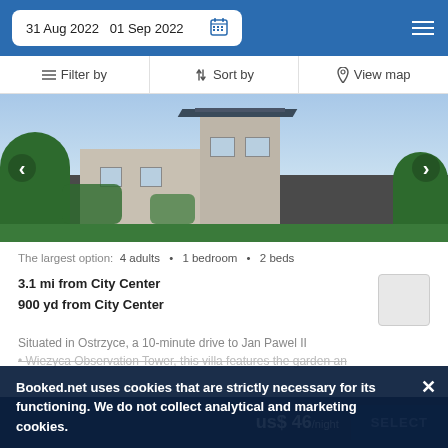31 Aug 2022  01 Sep 2022
Filter by  |  Sort by  |  View map
[Figure (photo): Photo of a multi-story villa/house with trees and garden, navigation arrows on left and right]
The largest option:  4 adults  •  1 bedroom  •  2 beds
3.1 mi from City Center
900 yd from City Center
Situated in Ostrzyce, a 10-minute drive to Jan Pawel II
• Wiezyca Observation Tower, this villa features the garden an
Booked.net uses cookies that are strictly necessary for its functioning. We do not collect analytical and marketing cookies.
us$ 46/night   SELECT